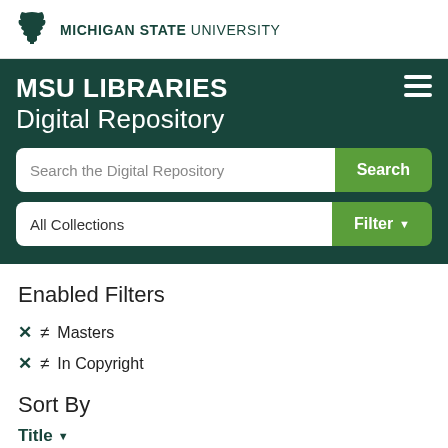MICHIGAN STATE UNIVERSITY
MSU LIBRARIES Digital Repository
Search the Digital Repository
All Collections
Enabled Filters
✕ ≠ Masters
✕ ≠ In Copyright
Sort By
Title ▼